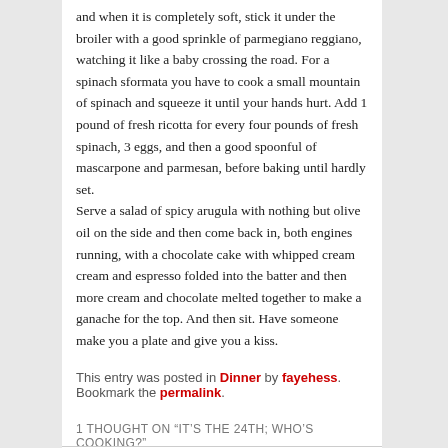and when it is completely soft, stick it under the broiler with a good sprinkle of parmegiano reggiano, watching it like a baby crossing the road. For a spinach sformata you have to cook a small mountain of spinach and squeeze it until your hands hurt. Add 1 pound of fresh ricotta for every four pounds of fresh spinach, 3 eggs, and then a good spoonful of mascarpone and parmesan, before baking until hardly set.
Serve a salad of spicy arugula with nothing but olive oil on the side and then come back in, both engines running, with a chocolate cake with whipped cream cream and espresso folded into the batter and then more cream and chocolate melted together to make a ganache for the top. And then sit. Have someone make you a plate and give you a kiss.
This entry was posted in Dinner by fayehess. Bookmark the permalink.
1 THOUGHT ON "IT'S THE 24TH; WHO'S COOKING?"